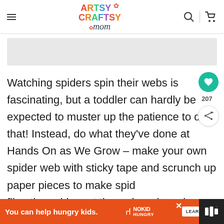[Figure (logo): Artsy Craftsy Mom website logo with colorful lettering]
Watching spiders spin their webs is fascinating, but a toddler can hardly be expected to muster up the patience to do that! Instead, do what they've done at Hands On as We Grow – make your own spider web with sticky tape and scrunch up paper pieces to make spid fling the spiders at the web and see how many st
[Figure (infographic): What's Next widget showing '15 Fun Super Mario Crafts...' with thumbnail]
[Figure (infographic): Ad banner: 'You can help hungry kids. No Kid Hungry - LEARN HOW']